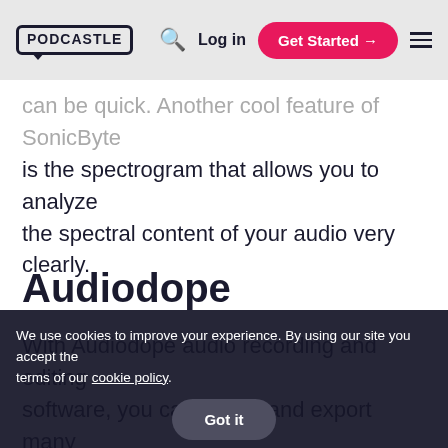PODCASTLE | Log in | Get Started
can be quickly. Another cool feature of SonicByte is the spectrogram that allows you to analyze the spectral content of your audio very clearly.
Audiodope
With Audiodope audio recording and editing software, you can import and export many different file types, including all of the traditional ones like WAV, mp3, Fl it also records with oth...
We use cookies to improve your experience. By using our site you accept the terms of our cookie policy. Got it